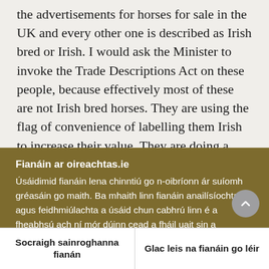the advertisements for horses for sale in the UK and every other one is described as Irish bred or Irish. I would ask the Minister to invoke the Trade Descriptions Act on these people, because effectively most of these are not Irish bred horses. They are using the flag of convenience of labelling them Irish to increase their value. They are doing a tremendous disservice to the name and reputation of Irish bred horses worldwide. This is a bad...
Fianáin ar oireachtas.ie
Úsáidimid fianáin lena chinntiú go n-oibríonn ár suíomh gréasáin go maith. Ba mhaith linn fianáin anailísíochta agus feidhmiúlachta a úsáid chun cabhrú linn é a fheabhsú ach ní mór dúinn cead a fháil uait sin a dhéanamh. Mura bhfuil tú sásta cead a thabhairt, ní úsáidfear ach fianáin riachtanacha. Léigh tuilead faoinár bhfianáin
Socraigh sainroghanna fianán
Glac leis na fianáin go léir